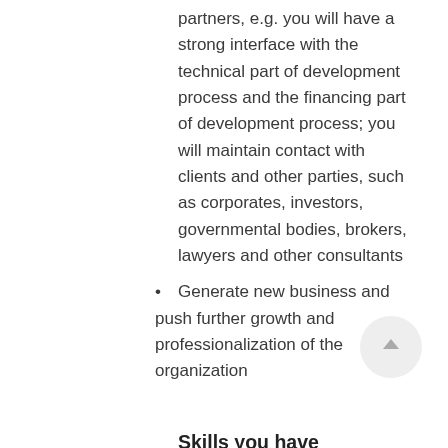partners, e.g. you will have a strong interface with the technical part of development process and the financing part of development process; you will maintain contact with clients and other parties, such as corporates, investors, governmental bodies, brokers, lawyers and other consultants
Generate new business and push further growth and professionalization of the organization
Skills you have
Master's degree
At least 10 years of experience in a related role
Strong and...